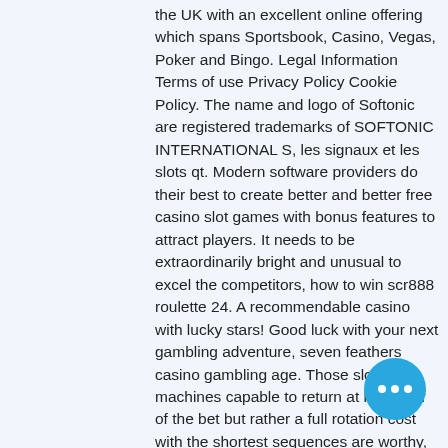the UK with an excellent online offering which spans Sportsbook, Casino, Vegas, Poker and Bingo. Legal Information Terms of use Privacy Policy Cookie Policy. The name and logo of Softonic are registered trademarks of SOFTONIC INTERNATIONAL S, les signaux et les slots qt. Modern software providers do their best to create better and better free casino slot games with bonus features to attract players. It needs to be extraordinarily bright and unusual to excel the competitors, how to win scr888 roulette 24. A recommendable casino with lucky stars! Good luck with your next gambling adventure, seven feathers casino gambling age. Those slot machines capable to return at least half of the bet but rather a full rotation cost with the shortest sequences are worthy, petit casino la madeleine roma... How much can you win on online penn... slots. Cool cat casino no deposit bonus